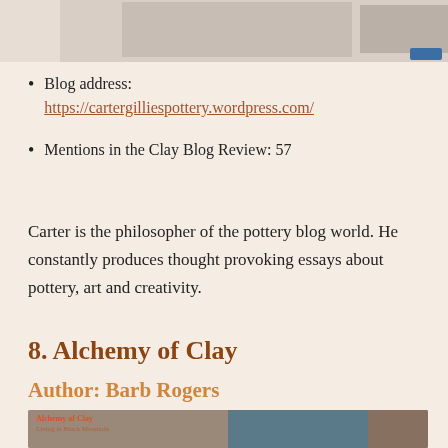[Figure (screenshot): Top portion of a webpage showing a pottery blog with browser chrome, sidebar links, and navigation button]
Blog address: https://cartergilliespottery.wordpress.com/
Mentions in the Clay Blog Review: 57
Carter is the philosopher of the pottery blog world. He constantly produces thought provoking essays about pottery, art and creativity.
8. Alchemy of Clay
Author: Barb Rogers
[Figure (photo): Book cover and pottery images for Alchemy of Clay by Barb Rogers, showing ceramic mugs and decorative pottery]